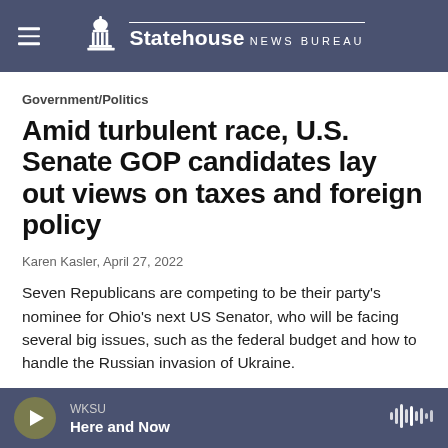Statehouse News Bureau
Government/Politics
Amid turbulent race, U.S. Senate GOP candidates lay out views on taxes and foreign policy
Karen Kasler,  April 27, 2022
Seven Republicans are competing to be their party's nominee for Ohio's next US Senator, who will be facing several big issues, such as the federal budget and how to handle the Russian invasion of Ukraine.
WKSU Here and Now